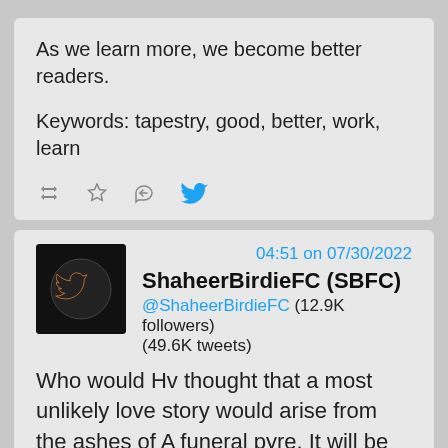As we learn more, we become better readers.
Keywords: tapestry, good, better, work, learn
[Figure (other): Tweet action icons: retweet, star/bookmark, reply, Twitter bird logo]
04:51 on 07/30/2022
ShaheerBirdieFC (SBFC)
@ShaheerBirdieFC (12.9K followers) (49.6K tweets)
Who would Hv thought that a most unlikely love story would arise from the ashes of A funeral pyre. It will be intriguing to see how the story unfolds from now on. Some threads of the tapestry are coming and